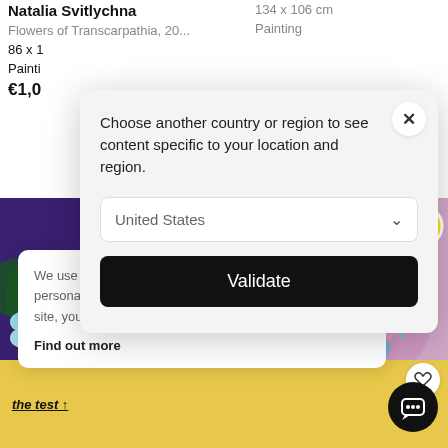Natalia Svitlychna
Flowers of Transcarpathia, 20...
86 x 1
Painti
€1,0
134 x 106 cm
Painting
[Figure (screenshot): Two paintings visible in background: left shows blue flowers on dark background, right shows colorful abstract art with pink/teal/yellow splashes and a circular badge in top right. Heart button (favorite) visible on right painting.]
Choose another country or region to see content specific to your location and region.
United States
Validate
We use cookies to provide you with a more personalised experience. By continuing to use this site, you agree to our use of cookies.
Find out more
now ? Ta
the test